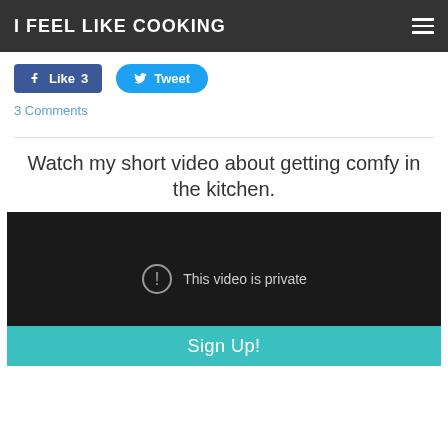I FEEL LIKE COOKING
[Figure (screenshot): Facebook Like button with count 3 and Twitter Tweet button]
3 Comments
Watch my short video about getting comfy in the kitchen.
[Figure (screenshot): Dark video player showing 'This video is private' message with a caution icon, and a teal Sign Up! bar at the bottom]